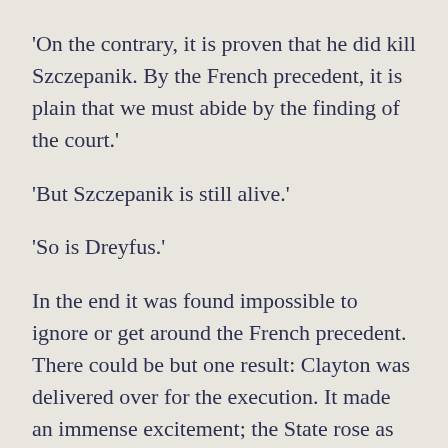'On the contrary, it is proven that he did kill Szczepanik. By the French precedent, it is plain that we must abide by the finding of the court.'
'But Szczepanik is still alive.'
'So is Dreyfus.'
In the end it was found impossible to ignore or get around the French precedent. There could be but one result: Clayton was delivered over for the execution. It made an immense excitement; the State rose as one man and clamored for Clayton's